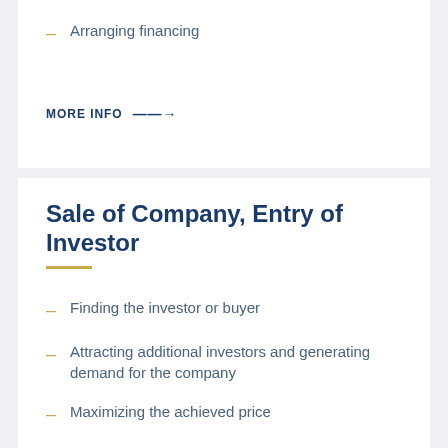Arranging financing
MORE INFO →
Sale of Company, Entry of Investor
Finding the investor or buyer
Attracting additional investors and generating demand for the company
Maximizing the achieved price